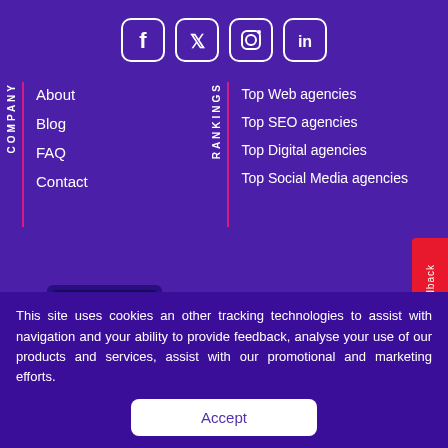[Figure (illustration): Social media icons: Facebook, Twitter, Instagram, LinkedIn in white rounded square borders on purple background]
About
Blog
FAQ
Contact
Top Web agencies
Top SEO agencies
Top Digital agencies
Top Social Media agencies
[Figure (illustration): Isometric illustration of a laptop/computer setup on an orange platform with purple and orange design elements]
Benefits for Marketers
This site uses cookies an other tracking technologies to assist with navigation and your ability to provide feedback, analyse your use of our products and services, assist with our promotional and marketing efforts.
Accept